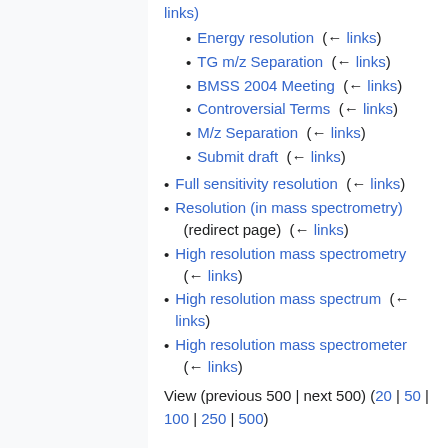links)
Energy resolution  (← links)
TG m/z Separation  (← links)
BMSS 2004 Meeting  (← links)
Controversial Terms  (← links)
M/z Separation  (← links)
Submit draft  (← links)
Full sensitivity resolution  (← links)
Resolution (in mass spectrometry) (redirect page)  (← links)
High resolution mass spectrometry (← links)
High resolution mass spectrum  (← links)
High resolution mass spectrometer (← links)
View (previous 500 | next 500) (20 | 50 | 100 | 250 | 500)